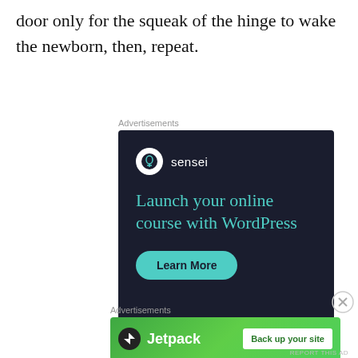door only for the squeak of the hinge to wake the newborn, then, repeat.
Advertisements
[Figure (illustration): Sensei advertisement with dark background: Sensei logo and name, headline 'Launch your online course with WordPress', a 'Learn More' button, and 'Powered by WordPress.com' footer.]
Advertisements
[Figure (illustration): Jetpack advertisement on green gradient background with Jetpack logo and 'Back up your site' button.]